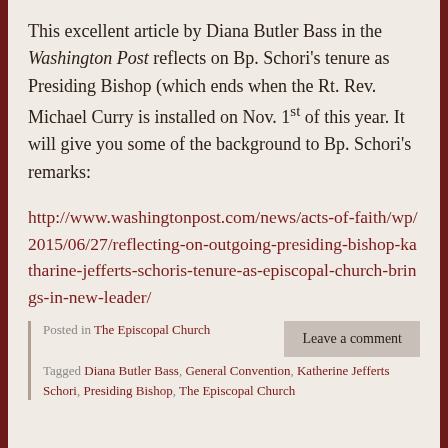This excellent article by Diana Butler Bass in the Washington Post reflects on Bp. Schori's tenure as Presiding Bishop (which ends when the Rt. Rev. Michael Curry is installed on Nov. 1st of this year. It will give you some of the background to Bp. Schori's remarks:
http://www.washingtonpost.com/news/acts-of-faith/wp/2015/06/27/reflecting-on-outgoing-presiding-bishop-katharine-jefferts-schoris-tenure-as-episcopal-church-brings-in-new-leader/
Posted in The Episcopal Church
Tagged Diana Butler Bass, General Convention, Katherine Jefferts Schori, Presiding Bishop, The Episcopal Church